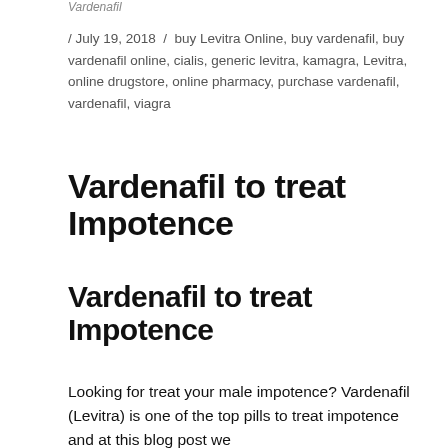Vardenafil
/ July 19, 2018 / buy Levitra Online, buy vardenafil, buy vardenafil online, cialis, generic levitra, kamagra, Levitra, online drugstore, online pharmacy, purchase vardenafil, vardenafil, viagra
Vardenafil to treat Impotence
Vardenafil to treat Impotence
Looking for treat your male impotence? Vardenafil (Levitra) is one of the top pills to treat impotence and at this blog post we